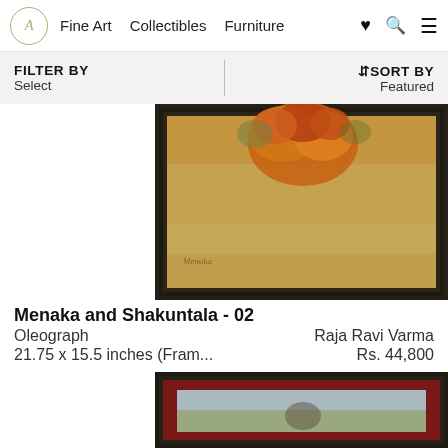A Fine Art  Collectibles  Furniture
FILTER BY
Select
↕SORT BY
Featured
[Figure (photo): Framed oleograph painting showing floral figures in warm browns and oranges with a dark wooden frame]
Menaka and Shakuntala - 02
Oleograph
21.75 x 15.5 inches (Fram...
Raja Ravi Varma
Rs. 44,800
[Figure (photo): Framed painting in dark wooden frame with maroon mat, showing a figure against a light sky background]